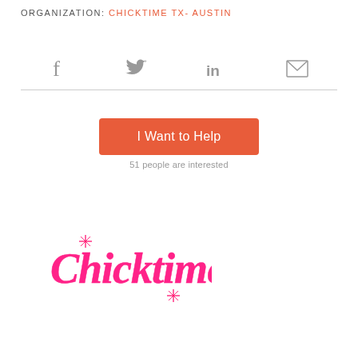ORGANIZATION: CHICKTIME TX- AUSTIN
[Figure (infographic): Social media share icons: Facebook (f), Twitter (bird), LinkedIn (in), Email (envelope), separated by a horizontal divider line]
I Want to Help
51 people are interested
[Figure (logo): Chicktime logo in pink cursive/decorative font with sparkle star accents]